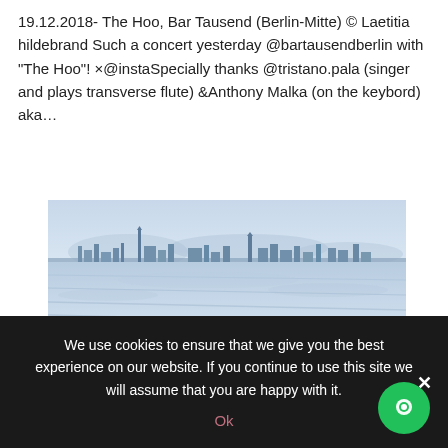19.12.2018- The Hoo, Bar Tausend (Berlin-Mitte) © Laetitia hildebrand Such a concert yesterday @bartausendberlin with "The Hoo"! ×@instaSpecially thanks @tristano.pala (singer and plays transverse flute) &Anthony Malka (on the keybord) aka…
[Figure (illustration): Watercolor/sketch illustration of a city skyline (Berlin) seen from a wide open field, rendered in blue-grey tones with muted landscape in foreground]
11.11.18- Tempelhofer Feld 180° view (Berlin-Neukölln)
by Laetitia | Nov 11, 2018
We use cookies to ensure that we give you the best experience on our website. If you continue to use this site we will assume that you are happy with it.
Ok